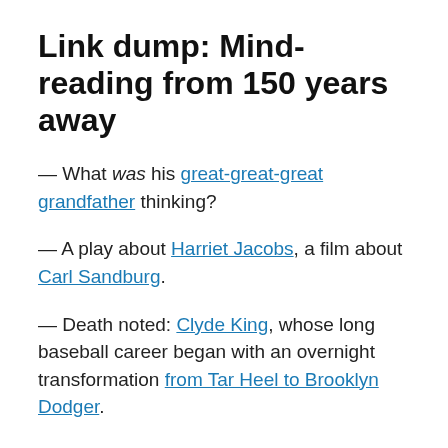Link dump: Mind-reading from 150 years away
— What was his great-great-great grandfather thinking?
— A play about Harriet Jacobs, a film about Carl Sandburg.
— Death noted: Clyde King, whose long baseball career began with an overnight transformation from Tar Heel to Brooklyn Dodger.